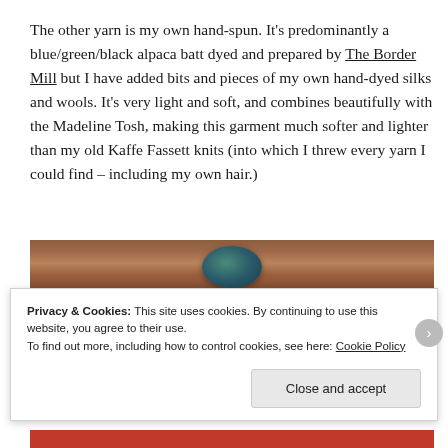The other yarn is my own hand-spun.  It's predominantly a blue/green/black alpaca batt dyed and prepared by The Border Mill but I have added bits and pieces of my own hand-dyed silks and wools.  It's very light and soft, and combines beautifully with the Madeline Tosh, making this garment much softer and lighter than my old Kaffe Fassett knits (into which I threw every yarn I could find – including my own hair.)
[Figure (photo): Partial photo of yarn/knitting on a wooden surface, partially obscured by cookie consent banner]
Privacy & Cookies: This site uses cookies. By continuing to use this website, you agree to their use.
To find out more, including how to control cookies, see here: Cookie Policy
Close and accept